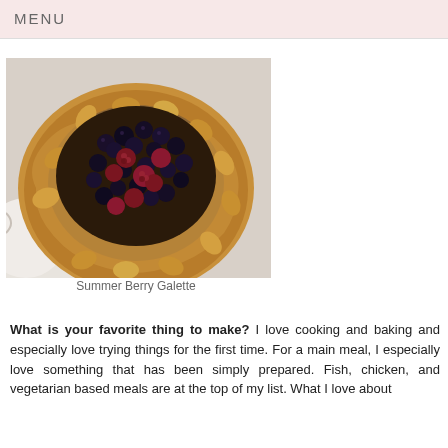MENU
[Figure (photo): Close-up photo of a Summer Berry Galette — a rustic open-faced pastry with a golden-brown crimped crust filled with blueberries and raspberries.]
Summer Berry Galette
What is your favorite thing to make? I love cooking and baking and especially love trying things for the first time. For a main meal, I especially love something that has been simply prepared. Fish, chicken, and vegetarian based meals are at the top of my list. What I love about baking is the special ingredients. The desserts really do taste great and the pastries really shine.